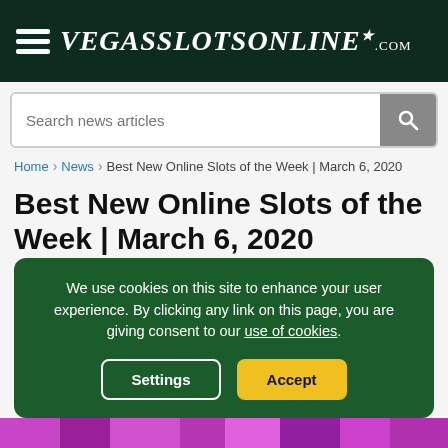VegasSlotsOnline.com
Search news articles
Home > News > Best New Online Slots of the Week | March 6, 2020
Best New Online Slots of the Week | March 6, 2020
Jon Young
We use cookies on this site to enhance your user experience. By clicking any link on this page, you are giving consent to our use of cookies.